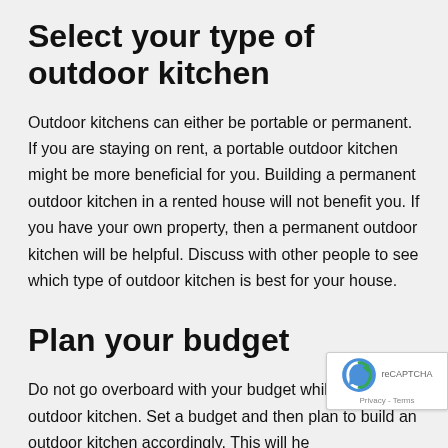Select your type of outdoor kitchen
Outdoor kitchens can either be portable or permanent. If you are staying on rent, a portable outdoor kitchen might be more beneficial for you. Building a permanent outdoor kitchen in a rented house will not benefit you. If you have your own property, then a permanent outdoor kitchen will be helpful. Discuss with other people to see which type of outdoor kitchen is best for your house.
Plan your budget
Do not go overboard with your budget while building an outdoor kitchen. Set a budget and then plan to build an outdoor kitchen accordingly. This will help save money in the long run. Having a budget also